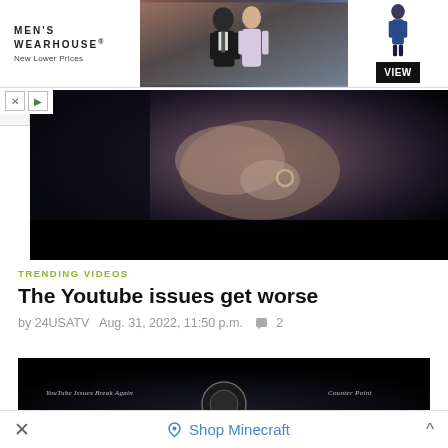[Figure (photo): Men's Wearhouse advertisement banner showing a couple in formal/wedding attire in the center, a man in a blue suit on the right side, and a VIEW button. Logo reads MEN'S WEARHOUSE with tagline New Lower Prices.]
[Figure (photo): Video thumbnail showing a close-up of hands/scene with dark background and fabric textures]
TRENDING VIDEOS
The Youtube issues get worse
by 24USATV   Aug. 31, 2022, 11:50 p.m.   💬 2
[Figure (screenshot): Dark video thumbnail with text 'YouTube Issues Break Again' on the left and 'Counter Point' on the right, with a circular element in the center]
Shop Minecraft